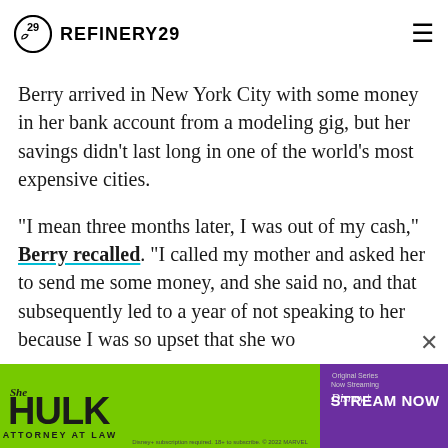REFINERY29
Berry arrived in New York City with some money in her bank account from a modeling gig, but her savings didn't last long in one of the world's most expensive cities.
"I mean three months later, I was out of my cash," Berry recalled. "I called my mother and asked her to send me some money, and she said no, and that subsequently led to a year of not speaking to her because I was so upset that she wo...
[Figure (infographic): She-Hulk Attorney at Law advertisement banner with green background, Disney+ streaming promotion]